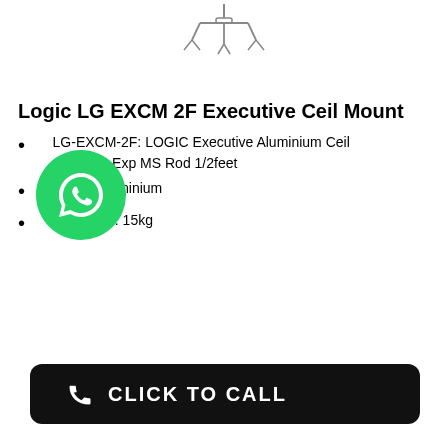[Figure (photo): Ceiling mount bracket product image shown hanging from ceiling]
Logic LG EXCM 2F Executive Ceil Mount
LG-EXCM-2F: LOGIC Executive Aluminium Ceil Mount Kit + Exp MS Rod 1/2feet
Material: Aluminium
Max Load: 15kg
[Figure (logo): WhatsApp logo green circle with phone handset icon]
[Figure (other): Black rounded rectangle button with phone icon and text CLICK TO CALL]